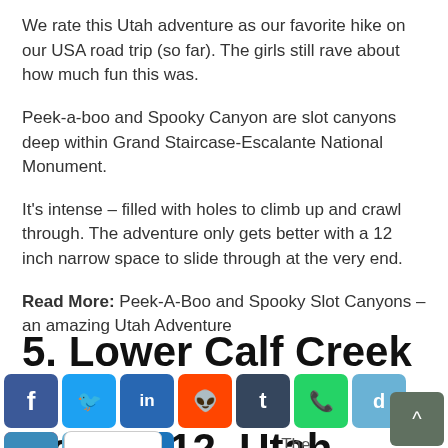We rate this Utah adventure as our favorite hike on our USA road trip (so far). The girls still rave about how much fun this was.
Peek-a-boo and Spooky Canyon are slot canyons deep within Grand Staircase-Escalante National Monument.
It's intense – filled with holes to climb up and crawl through. The adventure only gets better with a 12 inch narrow space to slide through at the very end.
Read More: Peek-A-Boo and Spooky Slot Canyons – an amazing Utah Adventure
5. Lower Calf Creek Falls, Highway Scenic 12, Utah
[Figure (infographic): Social media share buttons bar: Facebook, Twitter, LinkedIn, Reddit, Tumblr, WhatsApp, Digg, Pocket, Copy, Email, Plus, blank field]
The stunning